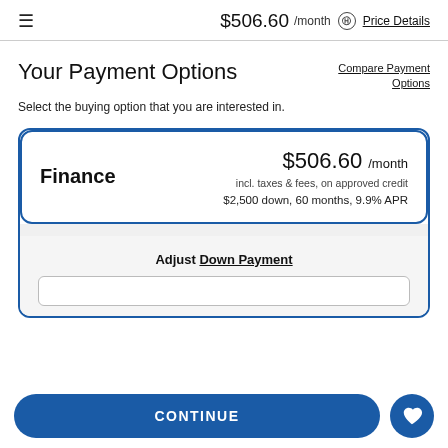≡  $506.60 /month ⓘ Price Details
Your Payment Options
Compare Payment Options
Select the buying option that you are interested in.
Finance  $506.60 /month  incl. taxes & fees, on approved credit  $2,500 down, 60 months, 9.9% APR
Adjust Down Payment
CONTINUE